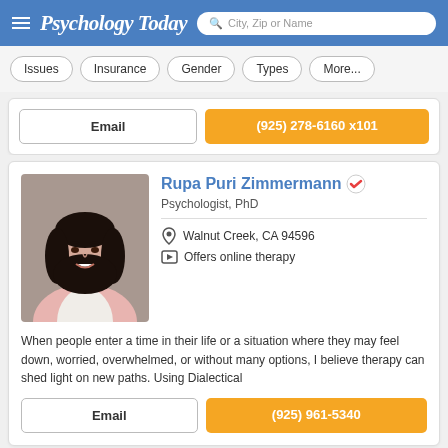Psychology Today — City, Zip or Name search
Issues
Insurance
Gender
Types
More...
Email
(925) 278-6160 x101
Rupa Puri Zimmermann
Psychologist, PhD
Walnut Creek, CA 94596
Offers online therapy
[Figure (photo): Professional headshot of Rupa Puri Zimmermann, a woman with long dark hair wearing a pink blazer over a white top, smiling against a gray background]
When people enter a time in their life or a situation where they may feel down, worried, overwhelmed, or without many options, I believe therapy can shed light on new paths. Using Dialectical
Email
(925) 961-5340